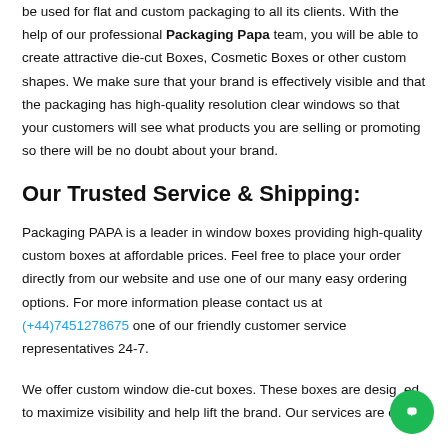be used for flat and custom packaging to all its clients. With the help of our professional Packaging Papa team, you will be able to create attractive die-cut Boxes, Cosmetic Boxes or other custom shapes. We make sure that your brand is effectively visible and that the packaging has high-quality resolution clear windows so that your customers will see what products you are selling or promoting so there will be no doubt about your brand.
Our Trusted Service & Shipping:
Packaging PAPA is a leader in window boxes providing high-quality custom boxes at affordable prices. Feel free to place your order directly from our website and use one of our many easy ordering options. For more information please contact us at (+44)7451278675 one of our friendly customer service representatives 24-7.
We offer custom window die-cut boxes. These boxes are designed to maximize visibility and help lift the brand. Our services are one